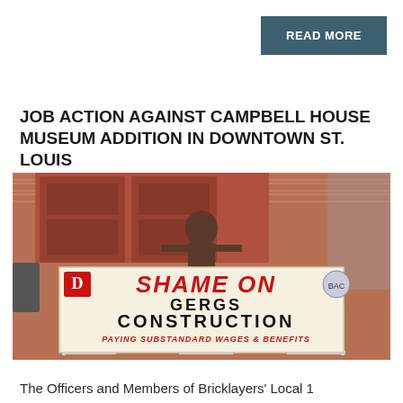READ MORE
JOB ACTION AGAINST CAMPBELL HOUSE MUSEUM ADDITION IN DOWNTOWN ST. LOUIS
[Figure (photo): A person holding a protest banner reading 'SHAME ON GERGS CONSTRUCTION PAYING SUBSTANDARD WAGES & BENEFITS' in front of a brick building]
The Officers and Members of Bricklayers' Local 1